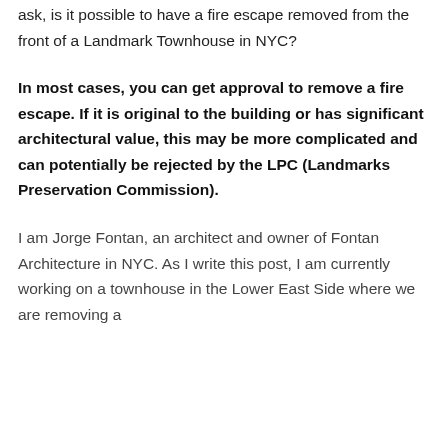ask, is it possible to have a fire escape removed from the front of a Landmark Townhouse in NYC?
In most cases, you can get approval to remove a fire escape. If it is original to the building or has significant architectural value, this may be more complicated and can potentially be rejected by the LPC (Landmarks Preservation Commission).
I am Jorge Fontan, an architect and owner of Fontan Architecture in NYC. As I write this post, I am currently working on a townhouse in the Lower East Side where we are removing a